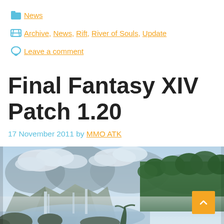News
Archive, News, Rift, River of Souls, Update
Leave a comment
Final Fantasy XIV Patch 1.20
17 November 2011 by MMO ATK
[Figure (photo): Landscape scene from Final Fantasy XIV showing cliffs, waterfalls, mist, and tropical forest in a fantasy setting]